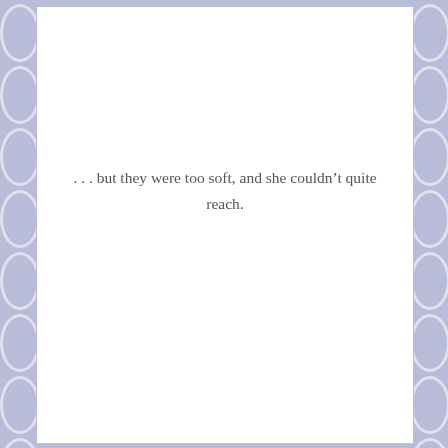. . . but they were too soft, and she couldn't quite reach.